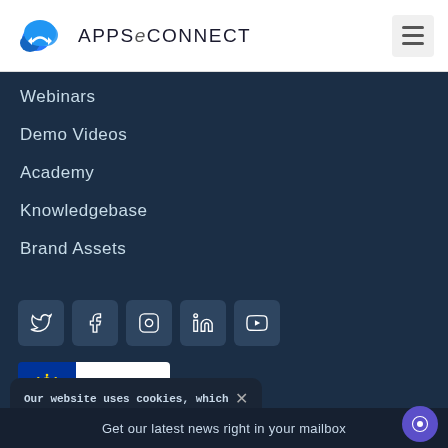APPSeCONNECT
Webinars
Demo Videos
Academy
Knowledgebase
Brand Assets
[Figure (other): Social media icon buttons: Twitter, Facebook, Instagram, LinkedIn, YouTube]
[Figure (logo): GDPR Compliant badge with EU stars logo]
Our website uses cookies, which helps us to deliver the best experience. Cookie Policy.
Get our latest news right in your mailbox